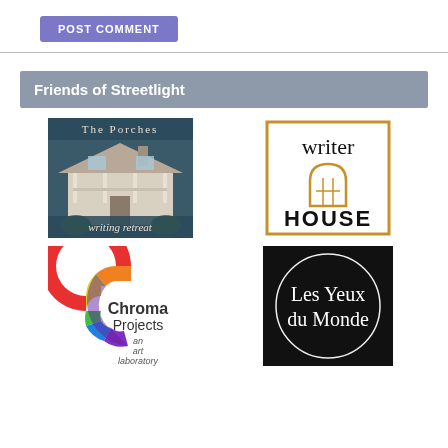[Figure (other): POST COMMENT button, purple/blue rounded rectangle with white uppercase text]
Friends of Streetlight
[Figure (logo): The Porches writing retreat logo — photo of a white historic house with text 'The Porches' and 'writing retreat' on a dark blue/teal background]
[Figure (logo): Writer House logo — black text 'writer HOUSE' with a gold/brown pencil icon inside a gold border rectangle]
[Figure (logo): Chroma Projects an art laboratory — colorful swirling C shape logo in rainbow colors on white background]
[Figure (logo): Les Yeux du Monde — white text on black circular logo with thin white circle border]